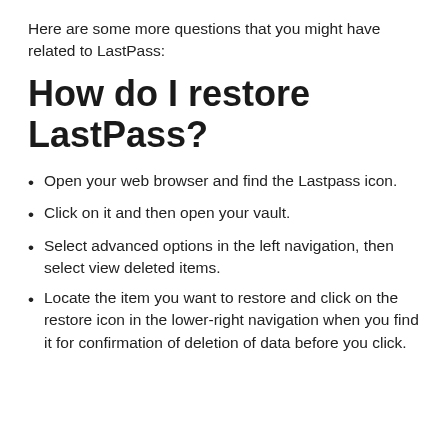Here are some more questions that you might have related to LastPass:
How do I restore LastPass?
Open your web browser and find the Lastpass icon.
Click on it and then open your vault.
Select advanced options in the left navigation, then select view deleted items.
Locate the item you want to restore and click on the restore icon in the lower-right navigation when you find it for confirmation of deletion of data before you click.